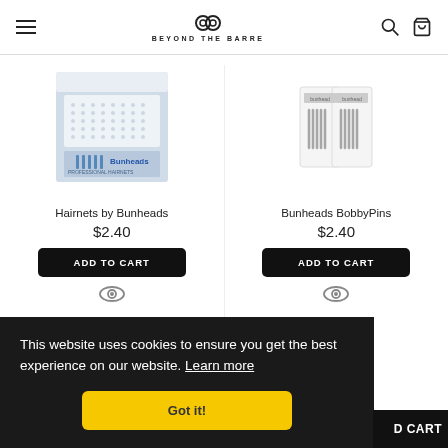Beyond The Barre — navigation header with hamburger menu, logo, search and cart icons
[Figure (photo): Product image of Hairnets by Bunheads — blue/white product box with Bunheads branding]
Hairnets by Bunheads
$2.40
ADD TO CART
[Figure (photo): Product image of Bunheads BobbyPins — two white product packaging cards]
Bunheads BobbyPins
$2.40
ADD TO CART
This website uses cookies to ensure you get the best experience on our website. Learn more
Got it!